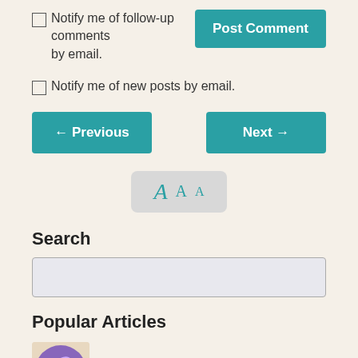Notify me of follow-up comments by email.
Notify me of new posts by email.
← Previous
Next →
[Figure (other): Font size selector widget showing three letter A's in decreasing sizes in teal color on a grey rounded rectangle background]
Search
Popular Articles
Pro Choice Should NOT Mean Ableist (13,647)